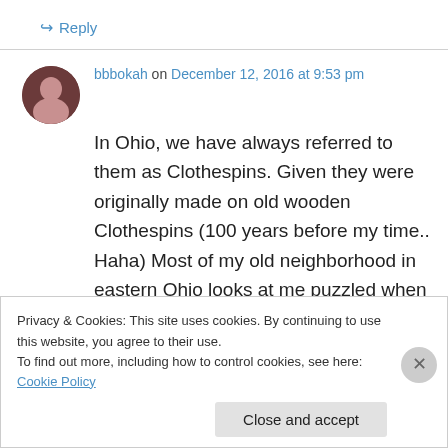↳ Reply
bbbokah on December 12, 2016 at 9:53 pm
In Ohio, we have always referred to them as Clothespins. Given they were originally made on old wooden Clothespins (100 years before my time.. Haha) Most of my old neighborhood in eastern Ohio looks at me puzzled when I use the term ladylocks.... They have never heard of
Privacy & Cookies: This site uses cookies. By continuing to use this website, you agree to their use.
To find out more, including how to control cookies, see here: Cookie Policy
Close and accept